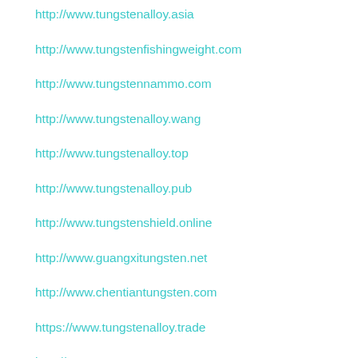http://www.tungstenalloy.asia
http://www.tungstenfishingweight.com
http://www.tungstennammo.com
http://www.tungstenalloy.wang
http://www.tungstenalloy.top
http://www.tungstenalloy.pub
http://www.tungstenshield.online
http://www.guangxitungsten.net
http://www.chentiantungsten.com
https://www.tungstenalloy.trade
http://www.tungstennammo.xyz